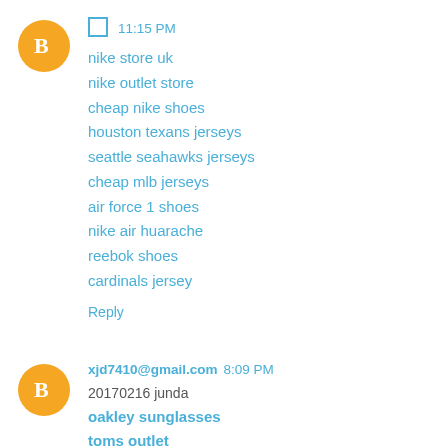[Figure (other): Blogger avatar icon - orange circle with white B]
11:15 PM
nike store uk
nike outlet store
cheap nike shoes
houston texans jerseys
seattle seahawks jerseys
cheap mlb jerseys
air force 1 shoes
nike air huarache
reebok shoes
cardinals jersey
Reply
[Figure (other): Blogger avatar icon - orange circle with white B]
xjd7410@gmail.com  8:09 PM
20170216 junda
oakley sunglasses
toms outlet
cheap oakley sunglasses
burberry outlet